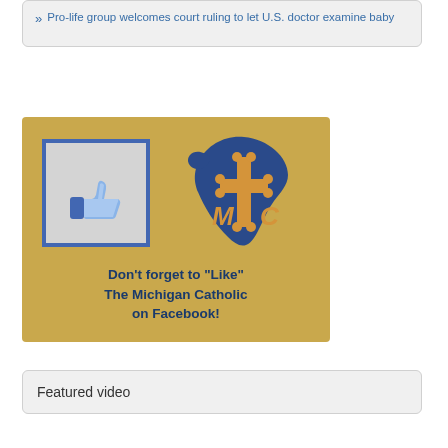Pro-life group welcomes court ruling to let U.S. doctor examine baby
[Figure (illustration): Gold banner advertisement with Facebook thumbs-up 'Like' icon on the left in a blue-bordered box, Michigan Catholic logo (MTC with cross in Michigan state shape) on the right, and text reading: Don't forget to "Like" The Michigan Catholic on Facebook!]
Featured video